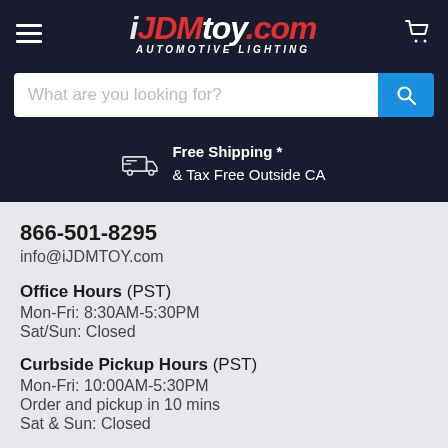[Figure (logo): iJDMTOY.com Automotive Lighting logo with hamburger menu and cart icon on dark navy header]
What are you looking for?
Free Shipping * & Tax Free Outside CA
866-501-8295
info@iJDMTOY.com
Office Hours (PST)
Mon-Fri: 8:30AM-5:30PM
Sat/Sun: Closed
Curbside Pickup Hours (PST)
Mon-Fri: 10:00AM-5:30PM
Order and pickup in 10 mins
Sat & Sun:  Closed